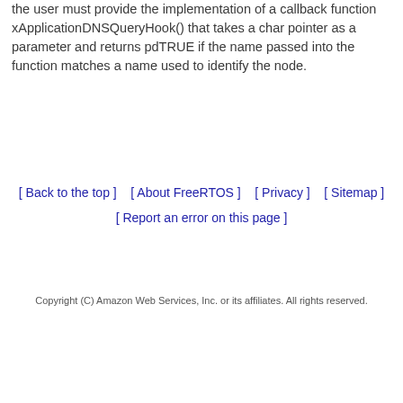the user must provide the implementation of a callback function xApplicationDNSQueryHook() that takes a char pointer as a parameter and returns pdTRUE if the name passed into the function matches a name used to identify the node.
[ Back to the top ]   [ About FreeRTOS ]   [ Privacy ]   [ Sitemap ]   [ Report an error on this page ]
Copyright (C) Amazon Web Services, Inc. or its affiliates. All rights reserved.